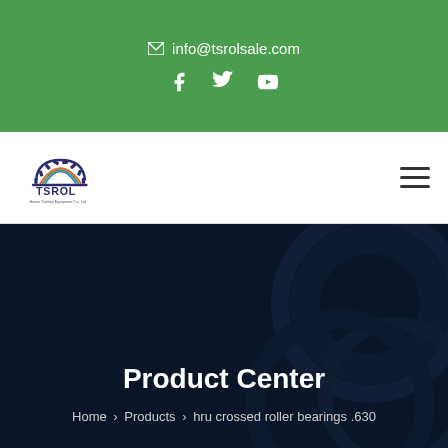✉ info@tsrolsale.com
[Figure (logo): TSROL company logo with gear/cog icon and text]
Product Center
Home > Products > hru crossed roller bearings .630